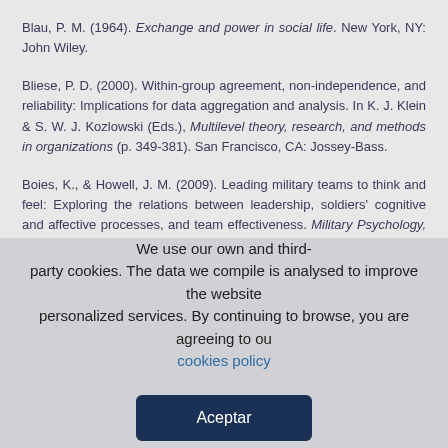Blau, P. M. (1964). Exchange and power in social life. New York, NY: John Wiley.
Bliese, P. D. (2000). Within-group agreement, non-independence, and reliability: Implications for data aggregation and analysis. In K. J. Klein & S. W. J. Kozlowski (Eds.), Multilevel theory, research, and methods in organizations (p. 349-381). San Francisco, CA: Jossey-Bass.
Boies, K., & Howell, J. M. (2009). Leading military teams to think and feel: Exploring the relations between leadership, soldiers' cognitive and affective processes, and team effectiveness. Military Psychology, 21, 216-232. https://doi.org/10.1080/08995600902768743
Burke, M. J., Finkelstein, L. M., & Dusig, M. S. (1999). On average deviation indices for estimating interrater agreement. Organizational Research Methods, 2, 49-68.
We use our own and third-party cookies. The data we compile is analysed to improve the website and personalized services. By continuing to browse, you are agreeing to our cookies policy
Aceptar